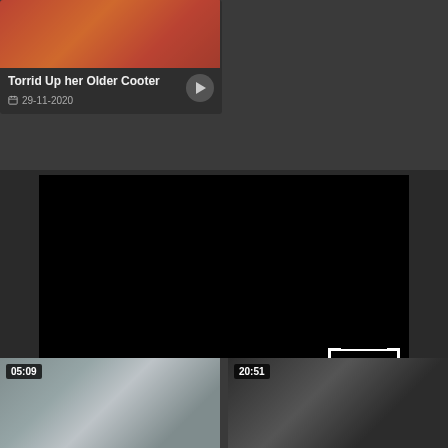[Figure (screenshot): Video thumbnail card showing title 'Torrid Up her Older Cooter' with date 29-11-2020 and play button]
[Figure (screenshot): Large black video player area with SEE MORE overlay text in bottom right corner]
[Figure (screenshot): Two video thumbnails side by side at bottom: left with duration 05:09, right with duration 20:51]